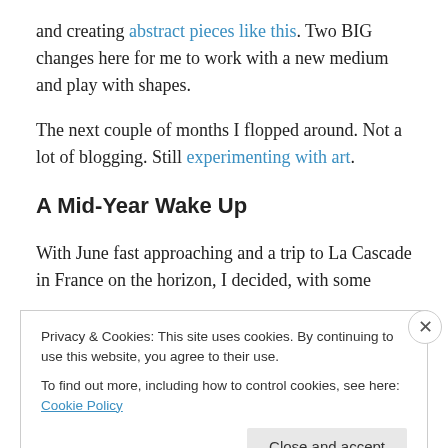and creating abstract pieces like this. Two BIG changes here for me to work with a new medium and play with shapes.
The next couple of months I flopped around. Not a lot of blogging. Still experimenting with art.
A Mid-Year Wake Up
With June fast approaching and a trip to La Cascade in France on the horizon, I decided, with some
Privacy & Cookies: This site uses cookies. By continuing to use this website, you agree to their use.
To find out more, including how to control cookies, see here: Cookie Policy